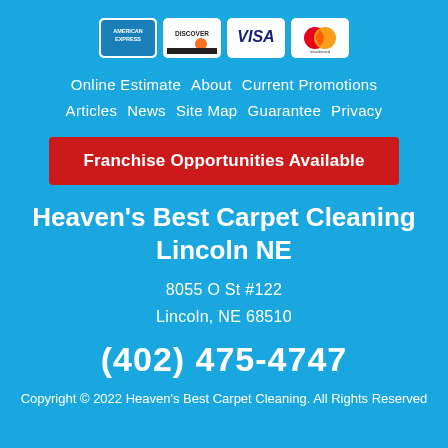[Figure (logo): Four credit card logos: American Express, Discover, Visa, Mastercard displayed as white-background tiles]
Online Estimate   About   Current Promotions   Articles   News   Site Map   Guarantee   Privacy
Franchise Opportunities Available
Heaven's Best Carpet Cleaning Lincoln NE
8055 O St #122
Lincoln, NE 68510
(402) 475-4747
Copyright © 2022 Heaven's Best Carpet Cleaning. All Rights Reserved